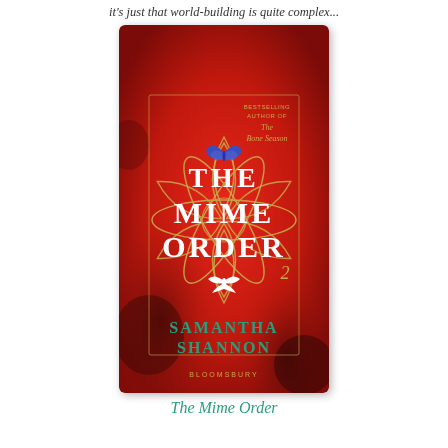it's just that world-building is quite complex...
[Figure (illustration): Book cover of 'The Mime Order' by Samantha Shannon. Red textured background with a large gold geometric flower/lotus pattern. A blue butterfly at the top center and a white double-headed bird motif below center. White serif title text 'THE MIME ORDER' in large letters. Number '2' in gold at lower right of the flower. Author name 'SAMANTHA SHANNON' in gold/green at the bottom. Publisher 'BLOOMSBURY' at the very bottom. Top right corner text reads 'BESTSELLING AUTHOR OF THE BONE SEASON' in small gold letters.]
The Mime Order